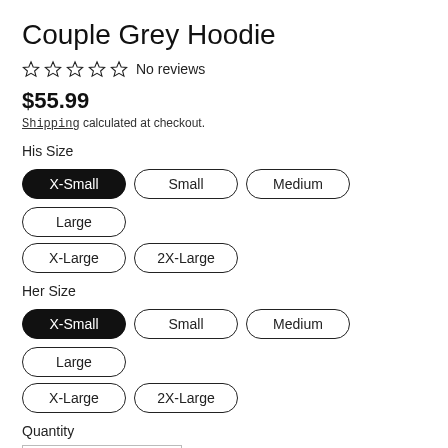Couple Grey Hoodie
☆ ☆ ☆ ☆ ☆ No reviews
$55.99
Shipping calculated at checkout.
His Size
X-Small | Small | Medium | Large | X-Large | 2X-Large
Her Size
X-Small | Small | Medium | Large | X-Large | 2X-Large
Quantity